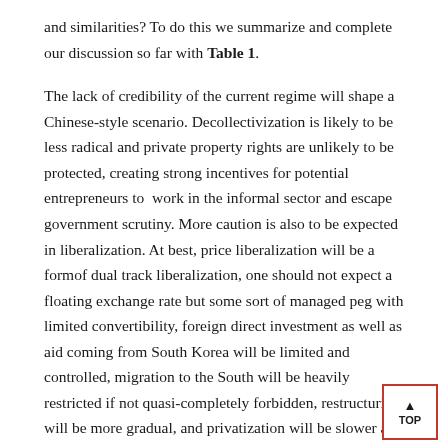and similarities? To do this we summarize and complete our discussion so far with Table 1.
The lack of credibility of the current regime will shape a Chinese-style scenario. Decollectivization is likely to be less radical and private property rights are unlikely to be protected, creating strong incentives for potential entrepreneurs to  work in the informal sector and escape government scrutiny. More caution is also to be expected in liberalization. At best, price liberalization will be a formof dual track liberalization, one should not expect a floating exchange rate but some sort of managed peg with limited convertibility, foreign direct investment as well as aid coming from South Korea will be limited and controlled, migration to the South will be heavily restricted if not quasi-completely forbidden, restructuring will be more gradual, and privatization will be slower and more cautious. As a consequence of a greater need to